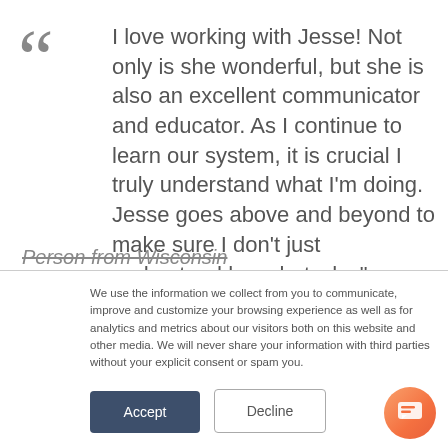" I love working with Jesse! Not only is she wonderful, but she is also an excellent communicator and educator. As I continue to learn our system, it is crucial I truly understand what I'm doing. Jesse goes above and beyond to make sure I don't just understand how, but why."
Person from Wisconsin
We use the information we collect from you to communicate, improve and customize your browsing experience as well as for analytics and metrics about our visitors both on this website and other media. We will never share your information with third parties without your explicit consent or spam you.